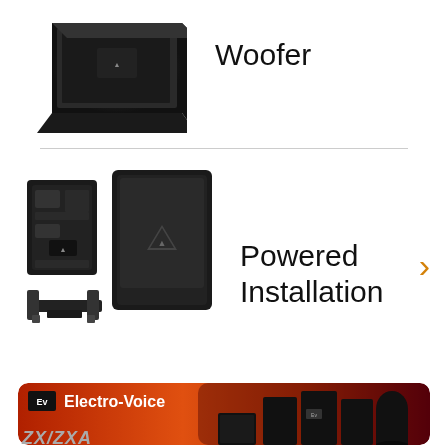[Figure (photo): Black powered subwoofer speaker, angled view from above]
Woofer
[Figure (photo): Three images of a powered installation speaker: rear panel view, front view, and wall-mount bracket]
Powered Installation
[Figure (photo): Electro-Voice ZX/ZXA speaker product line banner with multiple speakers on an orange/red background]
ZX/ZXA